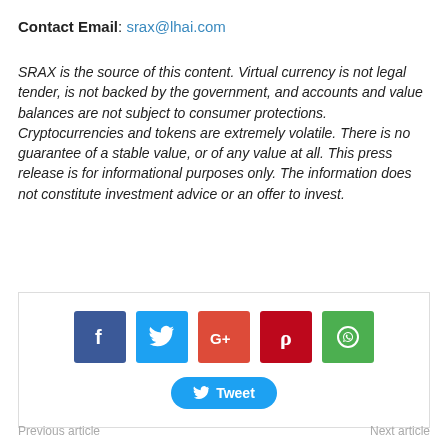Contact Email: srax@lhai.com
SRAX is the source of this content. Virtual currency is not legal tender, is not backed by the government, and accounts and value balances are not subject to consumer protections. Cryptocurrencies and tokens are extremely volatile. There is no guarantee of a stable value, or of any value at all. This press release is for informational purposes only. The information does not constitute investment advice or an offer to invest.
[Figure (infographic): Social media sharing buttons: Facebook (blue), Twitter (light blue), Google+ (red-orange), Pinterest (dark red), WhatsApp (green), and a Tweet button below]
Previous article    Next article